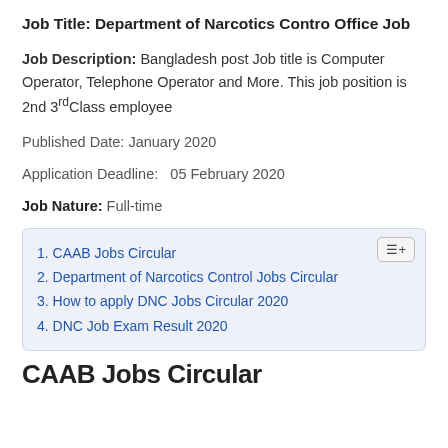Job Title: Department of Narcotics Contro Office Job
Job Description: Bangladesh post Job title is Computer Operator, Telephone Operator and More. This job position is 2nd 3rdClass employee
Published Date: January 2020
Application Deadline:   05 February 2020
Job Nature: Full-time
1. CAAB Jobs Circular
2. Department of Narcotics Control Jobs Circular
3. How to apply DNC Jobs Circular 2020
4. DNC Job Exam Result 2020
CAAB Jobs Circular